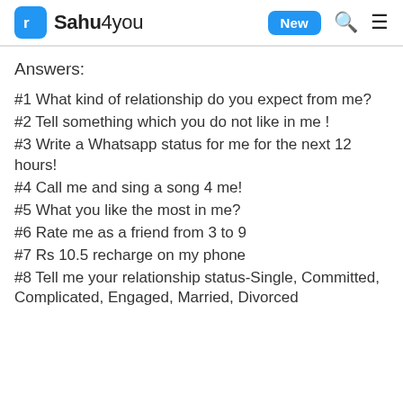Sahu4you — New
Answers:
#1 What kind of relationship do you expect from me?
#2 Tell something which you do not like in me !
#3 Write a Whatsapp status for me for the next 12 hours!
#4 Call me and sing a song 4 me!
#5 What you like the most in me?
#6 Rate me as a friend from 3 to 9
#7 Rs 10.5 recharge on my phone
#8 Tell me your relationship status-Single, Committed, Complicated, Engaged, Married, Divorced